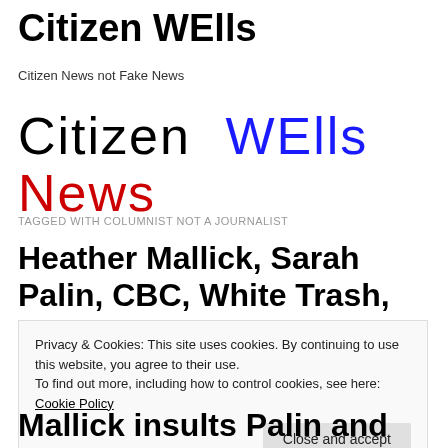Citizen WElls
Citizen News not Fake News
[Figure (logo): Citizen WElls News logo with 'Citizen' in black, 'WElls' in blue, 'News' in red, large display text]
TAGGED WITH COLUMNIST NOT A JOURNALIST
Heather Mallick, Sarah Palin, CBC, White Trash, Race
Privacy & Cookies: This site uses cookies. By continuing to use this website, you agree to their use.
To find out more, including how to control cookies, see here: Cookie Policy
Mallick insults Palin and US